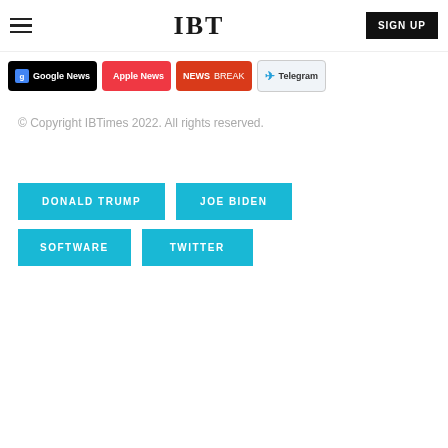IBT — SIGN UP
[Figure (logo): News app badges: Google News, Apple News, Newsbreak, Telegram]
© Copyright IBTimes 2022. All rights reserved.
DONALD TRUMP
JOE BIDEN
SOFTWARE
TWITTER